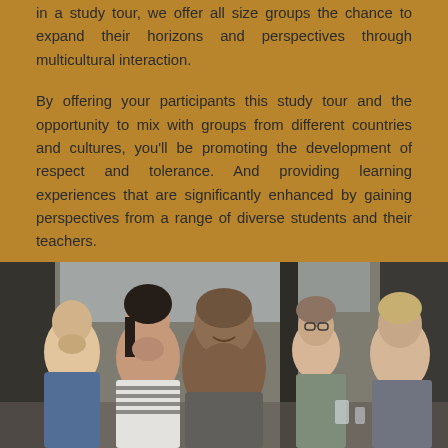in a study tour, we offer all size groups the chance to expand their horizons and perspectives through multicultural interaction.

By offering your participants this study tour and the opportunity to mix with groups from different countries and cultures, you'll be promoting the development of respect and tolerance. And providing learning experiences that are significantly enhanced by gaining perspectives from a range of diverse students and their teachers.
[Figure (photo): A group of diverse smiling young adults sitting together at a table, appearing to be in a classroom or meeting room setting. The central figure is a young man with a shaved head smiling broadly at the camera.]